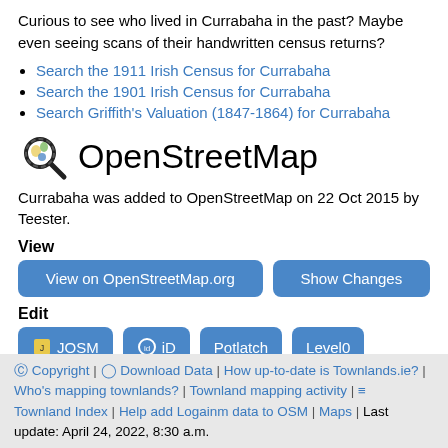Curious to see who lived in Currabaha in the past? Maybe even seeing scans of their handwritten census returns?
Search the 1911 Irish Census for Currabaha
Search the 1901 Irish Census for Currabaha
Search Griffith's Valuation (1847-1864) for Currabaha
OpenStreetMap
Currabaha was added to OpenStreetMap on 22 Oct 2015 by Teester.
View
View on OpenStreetMap.org
Show Changes
Edit
JOSM
iD
Potlatch
Level0
© Copyright | ⊙ Download Data | How up-to-date is Townlands.ie? | Who's mapping townlands? | Townland mapping activity | ≡ Townland Index | Help add Logainm data to OSM | Maps | Last update: April 24, 2022, 8:30 a.m.